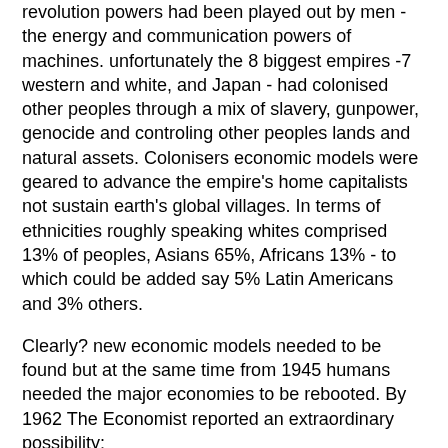revolution powers had been played out by men - the energy and communication powers of machines. unfortunately the 8 biggest empires -7 western and white, and Japan - had colonised other peoples through a mix of slavery, gunpower, genocide and controling other peoples lands and natural assets. Colonisers economic models were geared to advance the empire's home capitalists not sustain earth's global villages. In terms of ethnicities roughly speaking whites comprised 13% of peoples, Asians 65%, Africans 13% - to which could be added say 5% Latin Americans and 3% others.
Clearly? new economic models needed to be found but at the same time from 1945 humans needed the major economies to be rebooted. By 1962 The Economist reported an extraordinary possibility:
Japan had found two new economic models which thanks to American efforts South Korea and Taiwan were also using. There were win-win opportunities which might free all Asians who had been left out of productivity. Rural Keynesianism offered priority innovation networks for rural people connecting alumni of borlaug. Thanks to new engineers like